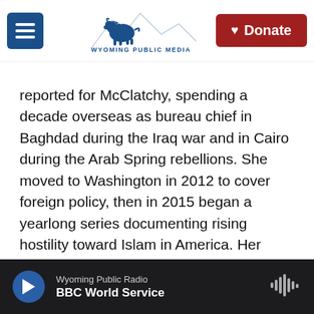[Figure (screenshot): Wyoming Public Media website header with hamburger menu icon (blue), Wyoming Public Media logo (bison with mountains), and red Donate button with heart icon]
reported for McClatchy, spending a decade overseas as bureau chief in Baghdad during the Iraq war and in Cairo during the Arab Spring rebellions. She moved to Washington in 2012 to cover foreign policy, then in 2015 began a yearlong series documenting rising hostility toward Islam in America. Her coverage of Islam in the United States won three national religion reporting awards in 2018 and 2019. Allam was part of McClatchy teams that won an Overseas Press Club award for exposing death squads in Iraq and a Polk Award for reporting on the Syrian conflict. She was a 2009 Nieman fellow at Harvard and
[Figure (screenshot): Wyoming Public Radio audio player bar with play button, station name 'Wyoming Public Radio', show title 'BBC World Service', and audio waveform icon]